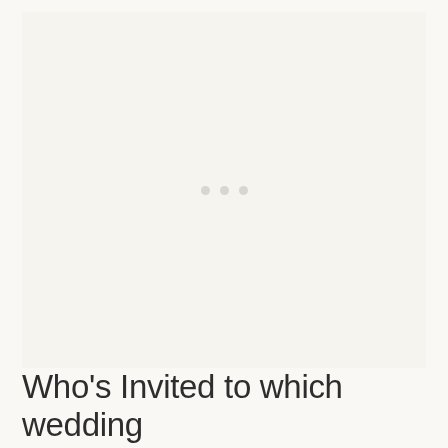[Figure (other): Large mostly blank/loading image placeholder area with three small light gray dots in the center indicating a loading state]
Who's Invited to which wedding